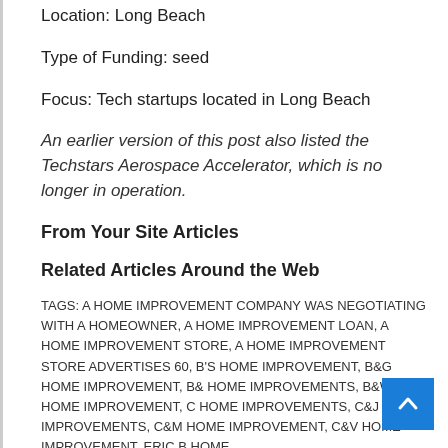Location: Long Beach
Type of Funding: seed
Focus: Tech startups located in Long Beach
An earlier version of this post also listed the Techstars Aerospace Accelerator, which is no longer in operation.
From Your Site Articles
Related Articles Around the Web
TAGS: A HOME IMPROVEMENT COMPANY WAS NEGOTIATING WITH A HOMEOWNER, A HOME IMPROVEMENT LOAN, A HOME IMPROVEMENT STORE, A HOME IMPROVEMENT STORE ADVERTISES 60, B'S HOME IMPROVEMENT, B&G HOME IMPROVEMENT, B& HOME IMPROVEMENTS, B&W HOME IMPROVEMENT, C HOME IMPROVEMENTS, C&J HOME IMPROVEMENTS, C&M HOME IMPROVEMENT, C&V HOME IMPROVEMENT, ERIC B HOME